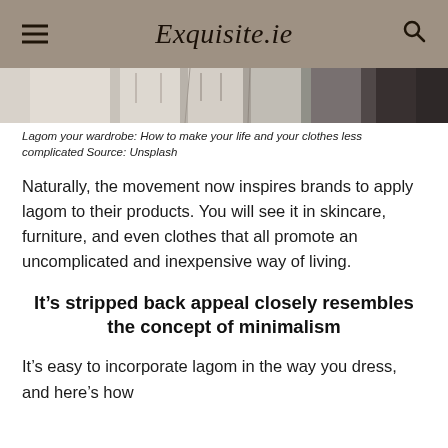Exquisite.ie
[Figure (photo): Partial view of a wardrobe with hanging clothes in neutral tones]
Lagom your wardrobe: How to make your life and your clothes less complicated Source: Unsplash
Naturally, the movement now inspires brands to apply lagom to their products. You will see it in skincare, furniture, and even clothes that all promote an uncomplicated and inexpensive way of living.
It’s stripped back appeal closely resembles the concept of minimalism
It’s easy to incorporate lagom in the way you dress, and here’s how